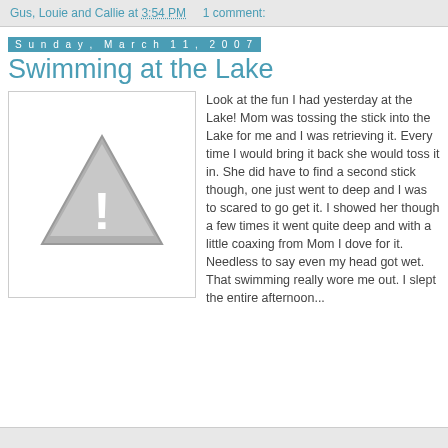Gus, Louie and Callie at 3:54 PM   1 comment:
Sunday, March 11, 2007
Swimming at the Lake
[Figure (illustration): Placeholder image with a grey triangle and exclamation mark warning icon]
Look at the fun I had yesterday at the Lake! Mom was tossing the stick into the Lake for me and I was retrieving it. Every time I would bring it back she would toss it in. She did have to find a second stick though, one just went to deep and I was to scared to go get it. I showed her though a few times it went quite deep and with a little coaxing from Mom I dove for it. Needless to say even my head got wet. That swimming really wore me out. I slept the entire afternoon...